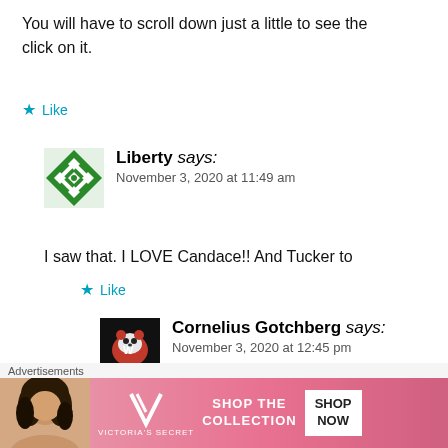You will have to scroll down just a little to see the click on it.
Like
Liberty says:
November 3, 2020 at 11:49 am
I saw that. I LOVE Candace!! And Tucker to
Like
Cornelius Gotchberg says:
November 3, 2020 at 12:45 pm
Get in line for LUVin' Candace
[Figure (infographic): Victoria's Secret advertisement banner with woman photo, VS logo, 'SHOP THE COLLECTION' text and 'SHOP NOW' button]